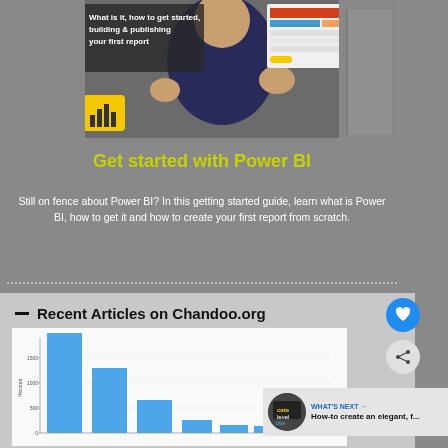[Figure (screenshot): Video thumbnail showing a person gesturing, with Power BI logo, text overlay 'What is it, how to get started, building & publishing your first report', and a screenshot of a Power BI report in the top-right corner.]
Get started with Power BI
Still on fence about Power BI? In this getting started guide, learn what is Power BI, how to get it and how to create your first report from scratch.
Recent Articles on Chandoo.org
[Figure (bar-chart): Bar chart showing article readcount/viewcount data across several categories, with bars in blue. Y-axis shows values like 500, 1000, 1500. Bars decrease in height from left to right.]